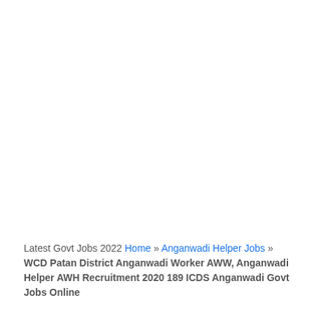Latest Govt Jobs 2022 Home » Anganwadi Helper Jobs » WCD Patan District Anganwadi Worker AWW, Anganwadi Helper AWH Recruitment 2020 189 ICDS Anganwadi Govt Jobs Online